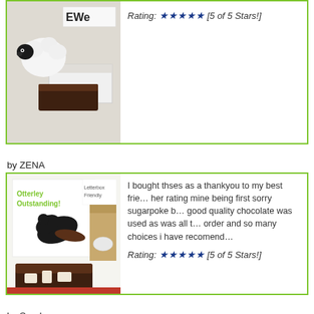[Figure (photo): Product photo of sheep figurine with brownies and white box (top review, partially visible)]
Rating: ★★★★★ [5 of 5 Stars!]
by ZENA
[Figure (photo): Product photo showing Otterley Outstanding letterbox friendly packaging with otter graphic and chocolate fudge piece]
I bought thses as a thankyou to my best frie... her rating mine being first sorry sugarpoke b... good quality chocolate was used as was all t... order and so many choices i have recomend...
Rating: ★★★★★ [5 of 5 Stars!]
by Sarah
[Figure (photo): Product photo showing Letterbox Friendly packaging with striped gift wrap and red bow (partially visible)]
I sent these to my brother after he complaine... package!
Rating: ★★★★★ [5 of 5 Stars!]